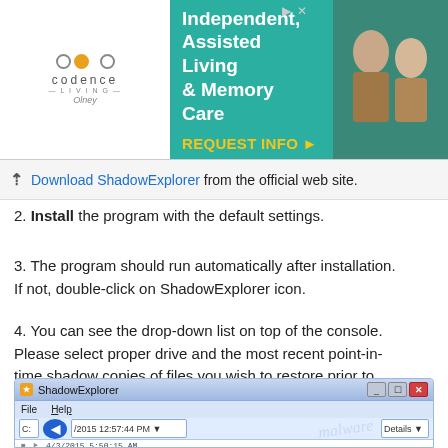[Figure (screenshot): Advertisement banner for Codence Living - Independent, Assisted Living & Memory Care in Olney. Teal background with REQUEST INFO call to action.]
Download ShadowExplorer from the official web site.
2. Install the program with the default settings.
3. The program should run automatically after installation. If not, double-click on ShadowExplorer icon.
4. You can see the drop-down list on top of the console. Please select proper drive and the most recent point-in-time shadow copies of files you wish to restore prior to Hkgt ransomware infection.
[Figure (screenshot): ShadowExplorer application window showing File/Help menu, drive selector dropdown showing C:, date dropdown showing /2015 12:57:44 PM, navigation arrow, and file listing with dates from 2015 and file modified dates from 2014.]